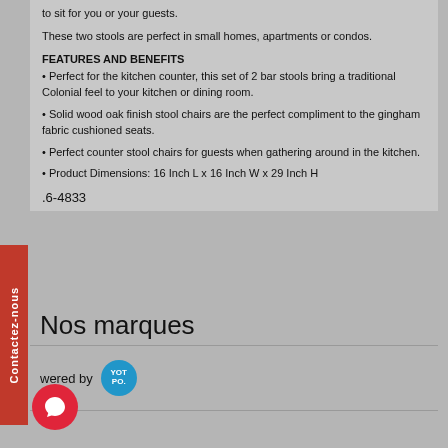to sit for you or your guests.
These two stools are perfect in small homes, apartments or condos.
FEATURES AND BENEFITS
• Perfect for the kitchen counter, this set of 2 bar stools bring a traditional Colonial feel to your kitchen or dining room.
• Solid wood oak finish stool chairs are the perfect compliment to the gingham fabric cushioned seats.
• Perfect counter stool chairs for guests when gathering around in the kitchen.
• Product Dimensions: 16 Inch L x 16 Inch W x 29 Inch H
.6-4833
Nos marques
wered by